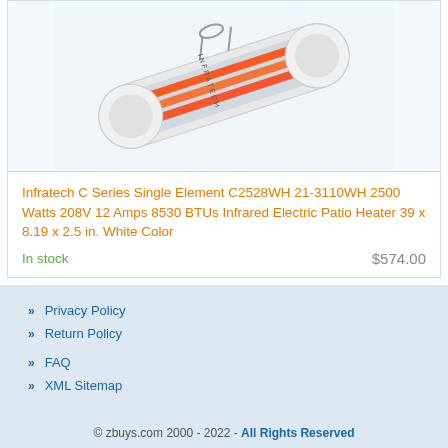[Figure (photo): Photo of Infratech C Series infrared electric patio heater in white color, cylindrical shape with orange heating elements visible, shown at an angle on a light blue/white background]
Infratech C Series Single Element C2528WH 21-3110WH 2500 Watts 208V 12 Amps 8530 BTUs Infrared Electric Patio Heater 39 x 8.19 x 2.5 in. White Color
In stock
$574.00
Privacy Policy
Return Policy
FAQ
XML Sitemap
© zbuys.com 2000 - 2022 - All Rights Reserved